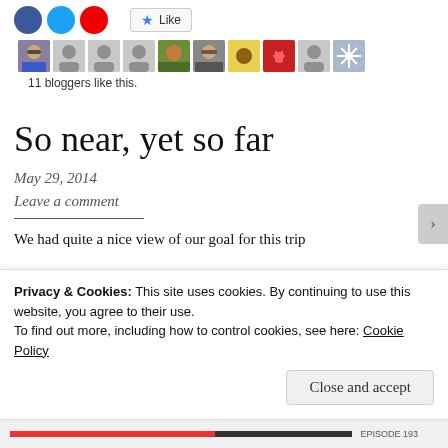[Figure (screenshot): Social sharing buttons (blue, light blue, red circles) and a Like button with star icon]
[Figure (photo): Row of 10 blogger avatar thumbnails including photos and silhouette placeholders]
11 bloggers like this.
So near, yet so far
May 29, 2014
Leave a comment
We had quite a nice view of our goal for this trip...
Privacy & Cookies: This site uses cookies. By continuing to use this website, you agree to their use. To find out more, including how to control cookies, see here: Cookie Policy
Close and accept